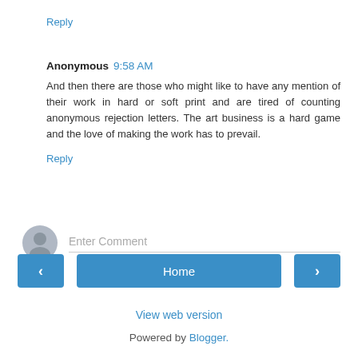Reply
Anonymous 9:58 AM
And then there are those who might like to have any mention of their work in hard or soft print and are tired of counting anonymous rejection letters. The art business is a hard game and the love of making the work has to prevail.
Reply
Enter Comment
Home
View web version
Powered by Blogger.